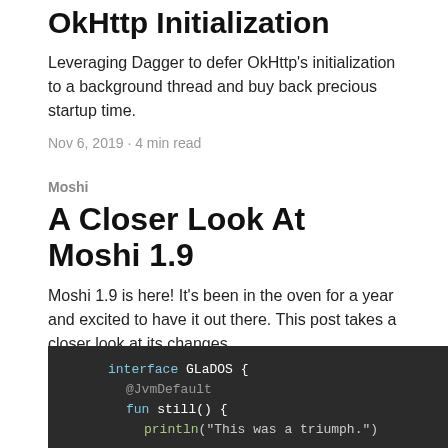OkHttp Initialization
Leveraging Dagger to defer OkHttp's initialization to a background thread and buy back precious startup time.
Nov 6, 2019 · 4 min read
Moshi
A Closer Look At Moshi 1.9
Moshi 1.9 is here! It's been in the oven for a year and excited to have it out there. This post takes a closer look at its changes.
Oct 30, 2019 · 6 min read
[Figure (screenshot): Dark-themed code editor screenshot showing Kotlin interface definition: interface GLaDOS { @JvmDefault fun still() { println("This was a triumph.") }]